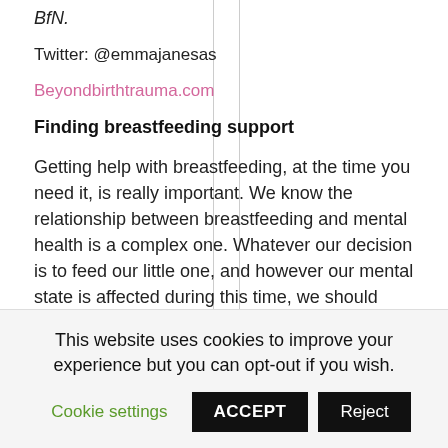BfN.
Twitter: @emmajanesas
Beyondbirthtrauma.com
Finding breastfeeding support
Getting help with breastfeeding, at the time you need it, is really important. We know the relationship between breastfeeding and mental health is a complex one. Whatever our decision is to feed our little one, and however our mental state is affected during this time, we should expect to feel supported and respected in our
This website uses cookies to improve your experience but you can opt-out if you wish.
Cookie settings
ACCEPT
Reject